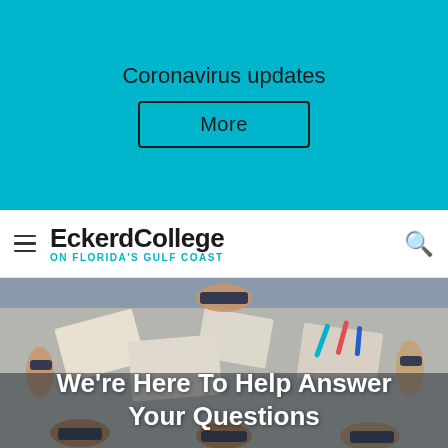Coronavirus updates
More
EckerdCollege on FLORIDA'S GULF COAST
[Figure (photo): Overhead view of multiple hands wearing black and white wristbands gathered around a table with papers, brochures, markers, and other materials.]
We're Here To Help Answer Your Questions